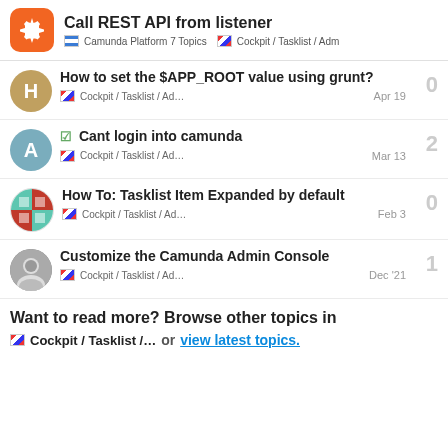Call REST API from listener | Camunda Platform 7 Topics | Cockpit / Tasklist / Adm
How to set the $APP_ROOT value using grunt? — Cockpit / Tasklist / Ad… — Apr 19 — 0 replies
✓ Cant login into camunda — Cockpit / Tasklist / Ad… — Mar 13 — 2 replies
How To: Tasklist Item Expanded by default — Cockpit / Tasklist / Ad… — Feb 3 — 0 replies
Customize the Camunda Admin Console — Cockpit / Tasklist / Ad… — Dec '21 — 1 reply
Want to read more? Browse other topics in Cockpit / Tasklist /… or view latest topics.